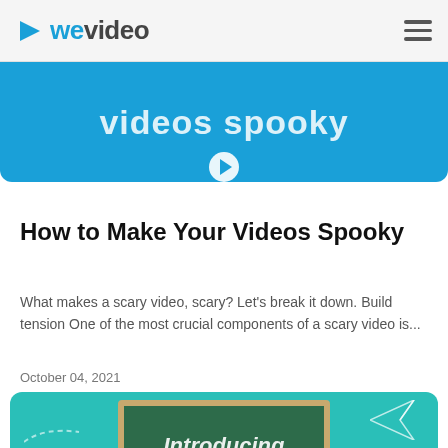WeVideo
[Figure (screenshot): Blue banner image with text 'videos spooky' and a play button at the bottom]
How to Make Your Videos Spooky
What makes a scary video, scary? Let’s break it down. Build tension One of the most crucial components of a scary video is...
October 04, 2021
[Figure (screenshot): Teal background card with chalkboard showing text 'Introducing' with paper airplane and dashed line decorations]